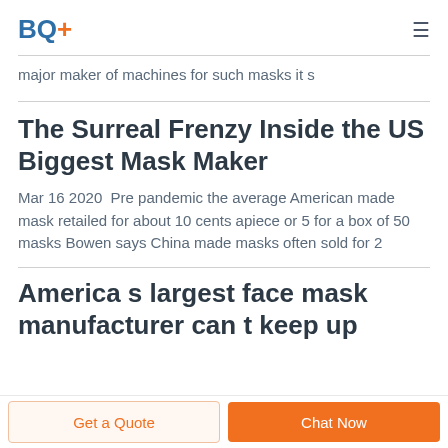BQ+
major maker of machines for such masks it s
The Surreal Frenzy Inside the US Biggest Mask Maker
Mar 16 2020  Pre pandemic the average American made mask retailed for about 10 cents apiece or 5 for a box of 50 masks Bowen says China made masks often sold for 2
America s largest face mask manufacturer can t keep up